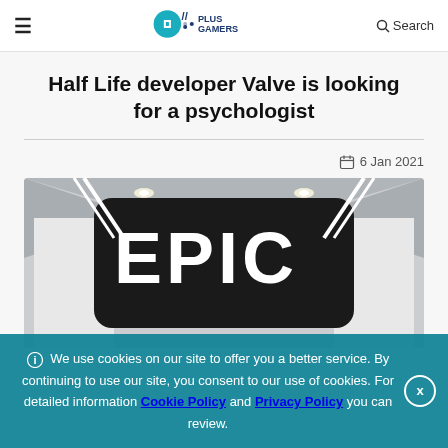Plus Gamers — Navigation header with hamburger menu, logo, and Search
Half Life developer Valve is looking for a psychologist
6 Jan 2021
[Figure (photo): Photo showing the Epic Games logo sign — large white bold letters 'EPIC' on a dark rounded-rectangle board, set in a bright modern interior space with ceiling lights and white walls.]
We use cookies on our site to offer you a better service. By continuing to use our site, you consent to our use of cookies. For detailed information Cookie Policy and Privacy Policy you can review.